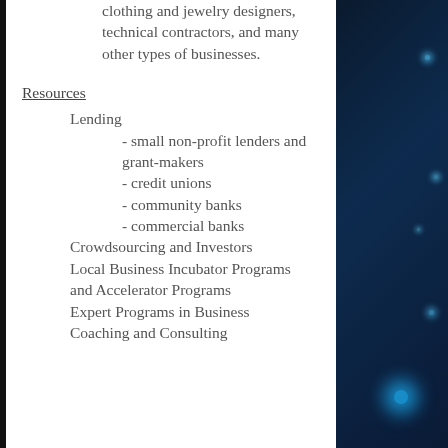clothing and jewelry designers, technical contractors, and many other types of businesses.
Resources
Lending
- small non-profit lenders and grant-makers
- credit unions
- community banks
- commercial banks
Crowdsourcing and Investors
Local Business Incubator Programs and Accelerator Programs
Expert Programs in Business Coaching and Consulting